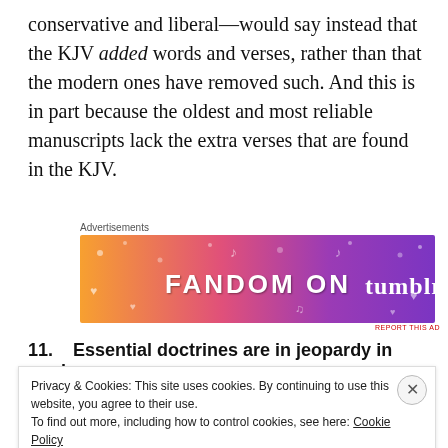conservative and liberal—would say instead that the KJV added words and verses, rather than that the modern ones have removed such. And this is in part because the oldest and most reliable manuscripts lack the extra verses that are found in the KJV.
[Figure (other): Advertisement banner for 'Fandom on tumblr' with colorful orange-to-purple gradient background and music/fandom icons]
11.   Essential doctrines are in jeopardy in modern
Privacy & Cookies: This site uses cookies. By continuing to use this website, you agree to their use. To find out more, including how to control cookies, see here: Cookie Policy